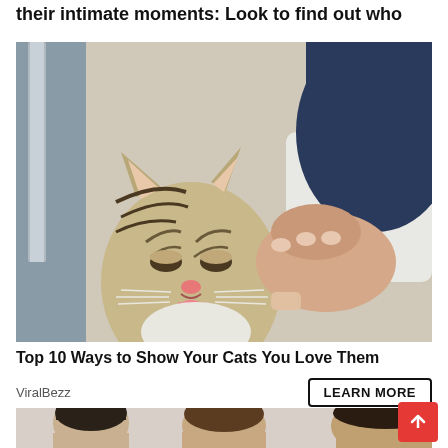their intimate moments: Look to find out who
[Figure (photo): A tabby cat licking a person's finger held close to its face, person wearing white and navy clothing]
Top 10 Ways to Show Your Cats You Love Them
ViralBezz
LEARN MORE
[Figure (photo): Three young Asian men with styled hair photographed against a light background, partial view]